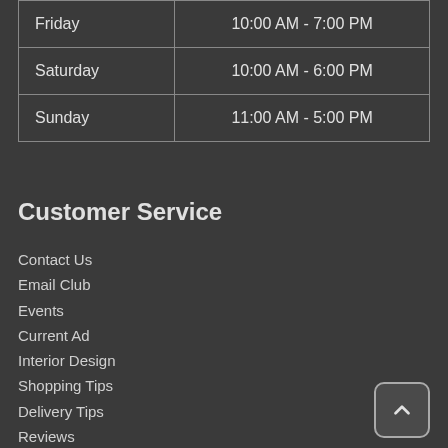| Day | Hours |
| --- | --- |
| Friday | 10:00 AM - 7:00 PM |
| Saturday | 10:00 AM - 6:00 PM |
| Sunday | 11:00 AM - 5:00 PM |
Customer Service
Contact Us
Email Club
Events
Current Ad
Interior Design
Shopping Tips
Delivery Tips
Reviews
Privacy Policy
Terms of Service
Accessibility
Site Map
Do Not Sell My Personal Information